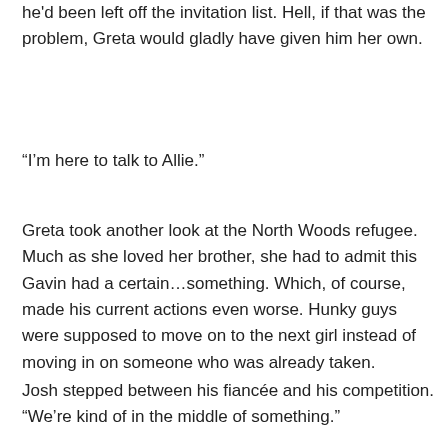he'd been left off the invitation list. Hell, if that was the problem, Greta would gladly have given him her own.
“I’m here to talk to Allie.”
Greta took another look at the North Woods refugee. Much as she loved her brother, she had to admit this Gavin had a certain…something. Which, of course, made his current actions even worse. Hunky guys were supposed to move on to the next girl instead of moving in on someone who was already taken.
Josh stepped between his fiancée and his competition. “We’re kind of in the middle of something.”